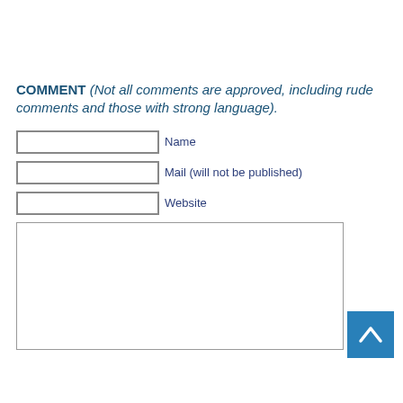COMMENT (Not all comments are approved, including rude comments and those with strong language).
Name field (input box)
Mail (will not be published) field (input box)
Website field (input box)
Comment text area (large input box)
[Figure (other): Blue square button with white upward-pointing chevron/arrow for scrolling to top of page]